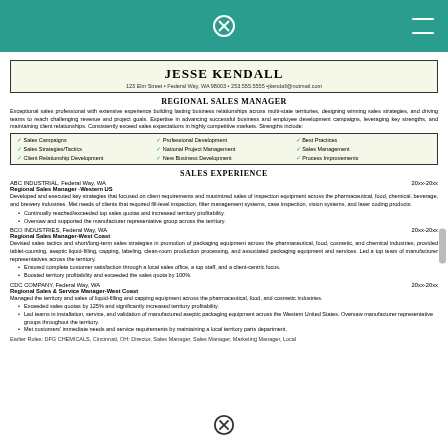Jesse Kendall
123 Elm Street • Federal Way, WA 98003 • 253.555.5555 •jkendall@notmail.com
Regional Sales Manager
Exceptional sales professional with extensive experience building lasting business relationships across multi-state territories, designing winning sales strategies, and driving teams to reach challenging revenue and project goals. Expertise in advancing successful business and employee development campaigns, leveraging key strengths, and maintaining client relationships. Consistently exceed sales expectations in highly competitive markets. Strengths include:
Sales Campaigns
Sales Strategies/Tactics
Client Relationship Development
Professional Development
National Project Management
New Business Development
Best Practices
Sales Management
Process Improvements
Sales Experience
ABC INDUSTRIAL, Federal Way, WA
Regional Sales Manager -Western US
20xx-20xx
Developed and executed key strategies that focused on client requirements and maximized sales of inspection equipment across the pharmaceutical, food, chemical, beverage, and brewery industries. Met needs of clients that required fill-level inspection, filter management systems, case inspection, vision systems, and laser coding products.
Continually reached/exceeded top sales quotas and increased territory profitability.
Oversaw and supported the manufacturer representative group across the territory.
BCO INDUSTRIES, Federal Way, WA
Regional Sales Manager-West Coast
20xx-20xx
Devised sales tactics and short/long-term sales strategies in promotion of packaging equipment across the pharmaceutical, food, cosmetic, and chemical industries; provided tablet-counting, aseptic liquid-filling, capping, labeling, clean-room production processing, and associated packaging equipment and services. Led a top team of manufacturer representatives across the territory.
Ensured complete customer satisfaction through a local sales office, a top staff, and a client-centric focus.
Boosted territory profitability and exceeded the sales quota by 100%.
CDC COMPANY, Federal Way, WA
Regional Sales & Service Manager-West Coast
20xx-20xx
Managed the territory and sales of liquid-filling and capping equipment across the pharmaceutical, food, and cosmetic industries.
Exceeded sales quotas by 125% and significantly increased territory profitability.
Led teams in installation, service, and validation of manufactured aseptic packaging equipment across the Western United States. Oversaw manufacturer representative groups throughout the territory.
Met customers' immediate needs and service requirements by maintaining a local territory parts department.
Earlier Roles: DFG CHEMICALS, Cincinnati, OH: Director, Sales Manager, Sales Manager, Marketing Manager, Local